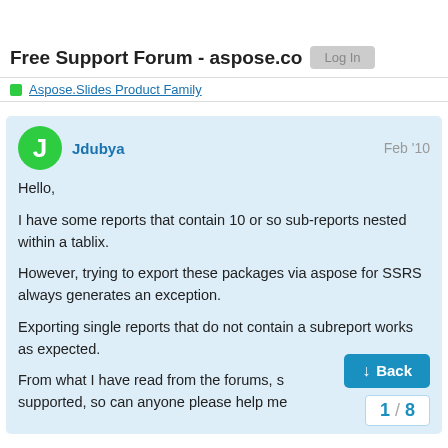Free Support Forum - aspose.com
Aspose.Slides Product Family
Jdubya
Feb '10
Hello,
I have some reports that contain 10 or so sub-reports nested within a tablix.
However, trying to export these packages via aspose for SSRS always generates an exception.
Exporting single reports that do not contain a subreport works as expected.
From what I have read from the forums, s... supported, so can anyone please help me...